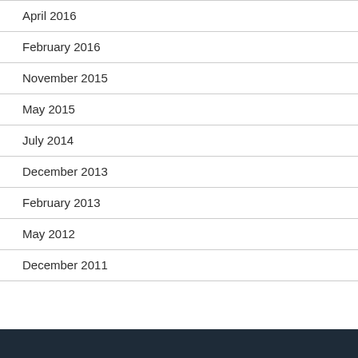April 2016
February 2016
November 2015
May 2015
July 2014
December 2013
February 2013
May 2012
December 2011